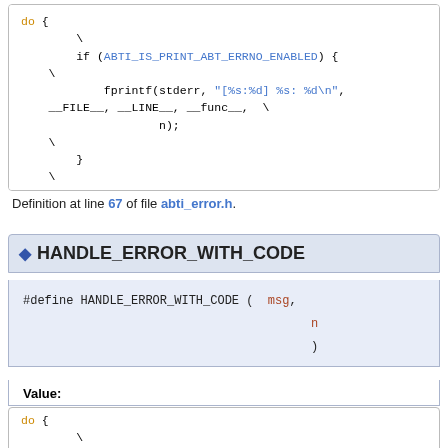[Figure (screenshot): Code snippet showing do { if (ABTI_IS_PRINT_ABT_ERRNO_ENABLED) { fprintf(stderr, "[%s:%d] %s: %d\n", __FILE__, __LINE__, __func__, n); } } while (0)]
Definition at line 67 of file abti_error.h.
HANDLE_ERROR_WITH_CODE
#define HANDLE_ERROR_WITH_CODE ( msg, n )
Value:
[Figure (screenshot): Code snippet beginning: do { if (ABTI_IS_PRINT_ABT_ERRNO_ENABLED) {]